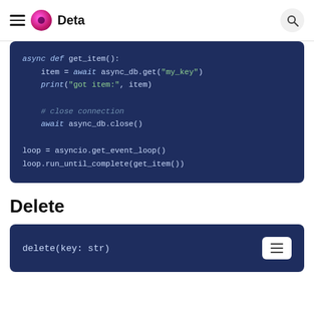Deta
[Figure (screenshot): Code block showing async Python code: async def get_item(): item = await async_db.get("my_key"), print("got item:", item), # close connection, await async_db.close(), loop = asyncio.get_event_loop(), loop.run_until_complete(get_item())]
Delete
[Figure (screenshot): Code block showing: delete(key: str)]